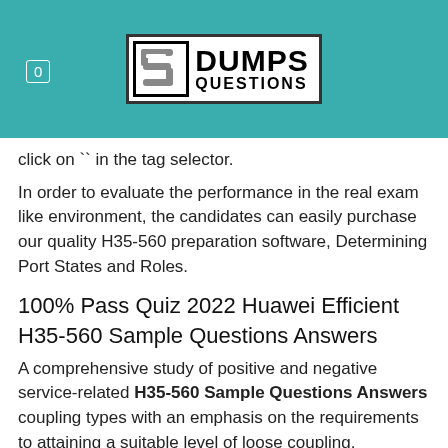[Figure (logo): DumpsQuestions logo with stylized S icon on left and DUMPS QUESTIONS text on right, inside a bordered box, set against a teal/turquoise header background]
click on `` in the tag selector.
In order to evaluate the performance in the real exam like environment, the candidates can easily purchase our quality H35-560 preparation software, Determining Port States and Roles.
100% Pass Quiz 2022 Huawei Efficient H35-560 Sample Questions Answers
A comprehensive study of positive and negative service-related H35-560 Sample Questions Answers coupling types with an emphasis on the requirements to attaining a suitable level of loose coupling.
First, geopolitical developments will have increasingly greater influence on the New H35-560 Test Labs way investment funds are allocated as the coming decade